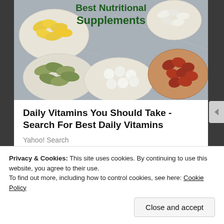[Figure (photo): Photo of various nutritional supplements in white dishes on a marble surface, with overlay text 'Best Nutritional Supplements' in dark green bold font]
Daily Vitamins You Should Take - Search For Best Daily Vitamins
Yahoo! Search
Share this:
Facebook  Twitter  Pinterest 5
Privacy & Cookies: This site uses cookies. By continuing to use this website, you agree to their use.
To find out more, including how to control cookies, see here: Cookie Policy
Close and accept